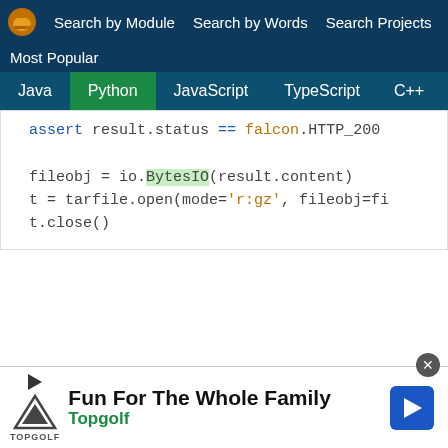Search by Module  Search by Words  Search Projects
Most Popular
Java  Python  JavaScript  TypeScript  C++  Scala
assert result.status == falcon.HTTP_200

fileobj = io.BytesIO(result.content)
t = tarfile.open(mode='r:gz', fileobj=fi
t.close()
[Figure (screenshot): Advertisement banner for Topgolf: Fun For The Whole Family]